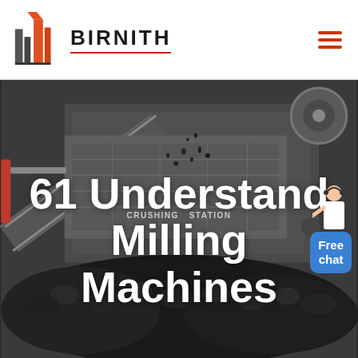[Figure (logo): BIRNITH company logo with orange and grey building/construction icon and brand name in uppercase letters with red underline, hamburger menu icon on right]
[Figure (photo): Industrial crushing station with conveyor belts, heavy machinery, and large pile of crushed black coal/rock material in dark grey tones]
61 Understand Milling Machines